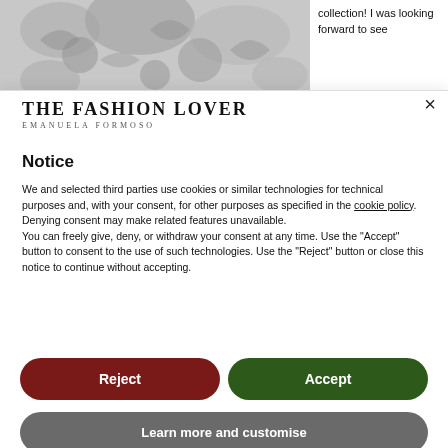[Figure (photo): Close-up black and white photo of ornate lace fabric with floral embroidery details]
collection! I was looking forward to see
[Figure (logo): The Fashion Lover logo with subtitle Emanuela Formoso]
Notice
We and selected third parties use cookies or similar technologies for technical purposes and, with your consent, for other purposes as specified in the cookie policy. Denying consent may make related features unavailable.
You can freely give, deny, or withdraw your consent at any time. Use the "Accept" button to consent to the use of such technologies. Use the "Reject" button or close this notice to continue without accepting.